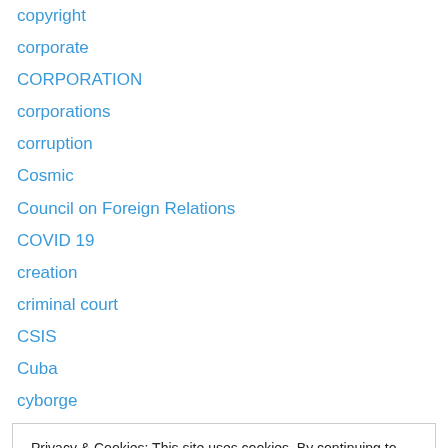copyright
corporate
CORPORATION
corporations
corruption
Cosmic
Council on Foreign Relations
COVID 19
creation
criminal court
CSIS
Cuba
cyborge
Privacy & Cookies: This site uses cookies. By continuing to use this website, you agree to their use. To find out more, including how to control cookies, see here: Cookie Policy
DNA